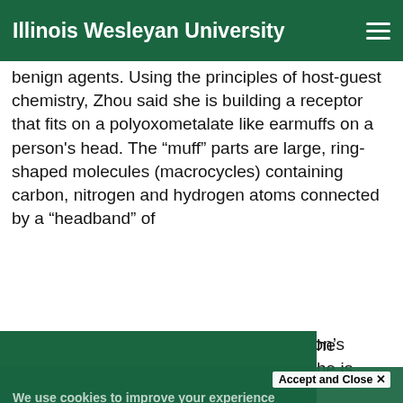Illinois Wesleyan University
benign agents. Using the principles of host-guest chemistry, Zhou said she is building a receptor that fits on a polyoxometalate like earmuffs on a person’s head. The “muff” parts are large, ring-shaped molecules (macrocycles) containing carbon, nitrogen and hydrogen atoms connected by a “headband” of
We use cookies to improve your experience on our website. By continuing to use our site...
Accept and Close ×
Your browser settings do not allow cross-site tracking for advertising. Click on this page to allow AdRoll to use cross-site tracking to tailor ads to you. Learn more or opt out of this AdRoll tracking by clicking here. This message only appears once.